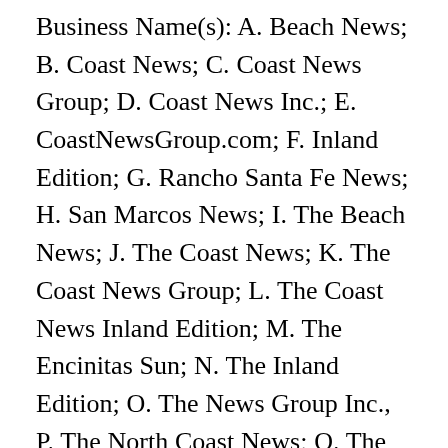Business Name(s): A. Beach News; B. Coast News; C. Coast News Group; D. Coast News Inc.; E. CoastNewsGroup.com; F. Inland Edition; G. Rancho Santa Fe News; H. San Marcos News; I. The Beach News; J. The Coast News; K. The Coast News Group; L. The Coast News Inland Edition; M. The Encinitas Sun; N. The Inland Edition; O. The News Group Inc., P. The North Coast News; Q. The Rancho Santa Fe News; R. The San Marcos News; S. The Vista News; T. The Vista/San Marcos News; U. TheCoastNews.com. Located at: 315 S. Coast Hwy 101 #W, Encinitas CA 92024 San Diego. Mailing Address: PO Box 232550, Encinitas CA 92023-2550. Registrant Information: 1. Coast